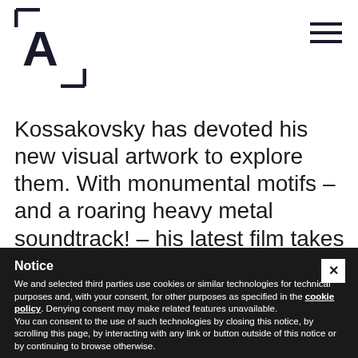[Figure (logo): Logo with stylized letter A in a bracket/corner frame]
Kossakovsky has devoted his new visual artwork to explore them. With monumental motifs – and a roaring heavy metal soundtrack! – his latest film takes us around the world. Water is a fluid metaphor for life itself, but is at the same time a destructive force, which in line with
Notice
We and selected third parties use cookies or similar technologies for technical purposes and, with your consent, for other purposes as specified in the cookie policy. Denying consent may make related features unavailable.
You can consent to the use of such technologies by closing this notice, by scrolling this page, by interacting with any link or button outside of this notice or by continuing to browse otherwise.